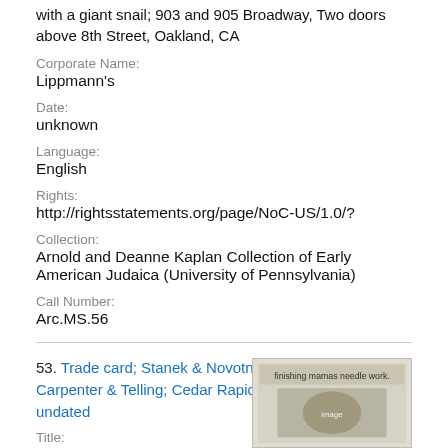with a giant snail; 903 and 905 Broadway, Two doors above 8th Street, Oakland, CA
Corporate Name:
Lippmann's
Date:
unknown
Language:
English
Rights:
http://rightsstatements.org/page/NoC-US/1.0/?
Collection:
Arnold and Deanne Kaplan Collection of Early American Judaica (University of Pennsylvania)
Call Number:
Arc.MS.56
53. Trade card; Stanek & Novotny; Guthmann, Carpenter & Telling; Cedar Rapids, Iowa, United States; undated
Title:
Trade card; Stanek & Novotny;
[Figure (photo): Thumbnail image of a trade card showing text 'finishing mamas needle work']